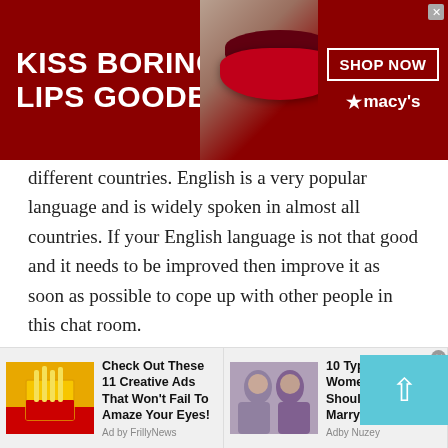[Figure (screenshot): Macy's advertisement banner with dark red background, woman's face with red lips, text 'KISS BORING LIPS GOODBYE', 'SHOP NOW' button box, and Macy's star logo]
different countries. English is a very popular language and is widely spoken in almost all countries. If your English language is not that good and it needs to be improved then improve it as soon as possible to cope up with other people in this chat room.
Crowd-pleaser and conversation starters this way, please!
You fancy showing off your way with words and begin interesting conversations then you have come to the right
[Figure (screenshot): Bottom ad bar with two advertisements: 'Check Out These 11 Creative Ads That Won't Fail To Amaze Your Eyes!' by FrillyNews with McDonald's fries thumbnail, and '10 Types of Women You Should Never Marry' by Adby Nuzey with photo of two women]